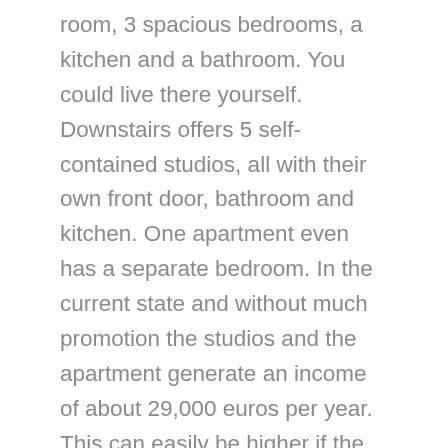room, 3 spacious bedrooms, a kitchen and a bathroom. You could live there yourself. Downstairs offers 5 self-contained studios, all with their own front door, bathroom and kitchen. One apartment even has a separate bedroom. In the current state and without much promotion the studios and the apartment generate an income of about 29,000 euros per year. This can easily be higher if the studios and apartment are renovated. Because now for the somewhat not so good news; this property could do with an update. The structure is fine, the house just doesn't look very appealing at the moment. A lick of paint and some modern furniture would already make a huge difference. New bathrooms and